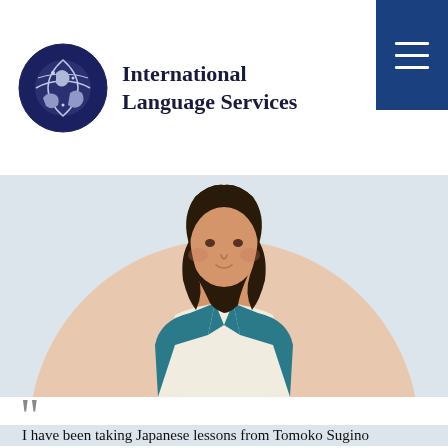[Figure (logo): International Language Services logo: circular emblem with hands/globe motif in dark navy blue, followed by the text 'International Language Services']
[Figure (illustration): Illustration of a woman with dark hair wearing a teal blazer and white top, shown from the shoulders up within a circular peach/beige background, on a light blue-grey background]
I have been taking Japanese lessons from Tomoko Sugino